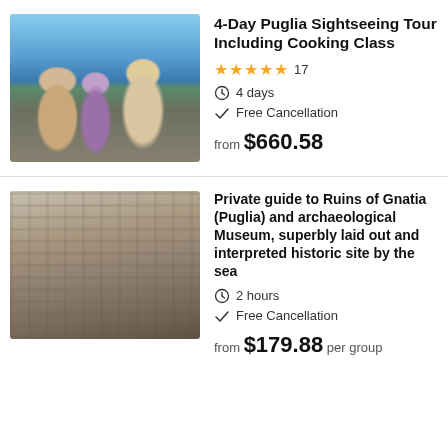[Figure (photo): Group of four tourists posing near waterfront, Puglia coast in background]
4-Day Puglia Sightseeing Tour Including Cooking Class
★★★★★ 17
⏱ 4 days
✓ Free Cancellation
from $660.58
[Figure (photo): Ancient ruins of Gnatia, stone columns and archaeological remains by the sea]
Private guide to Ruins of Gnatia (Puglia) and archaeological Museum, superbly laid out and interpreted historic site by the sea
⏱ 2 hours
✓ Free Cancellation
from $179.88 per group